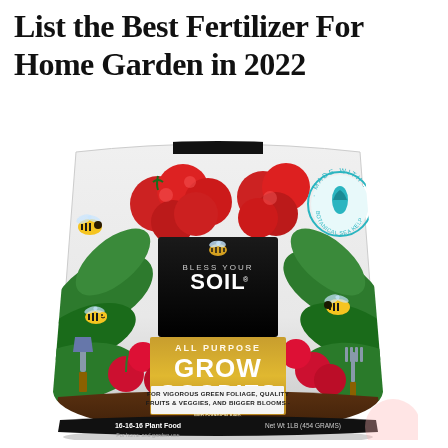List the Best Fertilizer For Home Garden in 2022
[Figure (photo): Product photo of 'Bless Your Soil All Purpose Grow Goodies' fertilizer bag. The bag features illustrations of tomatoes, flowers, bees, and tropical leaves. It shows a black top panel with a bee logo and brand name, a gold/amber center panel with product name in large white text, and descriptive text about botanical sea kelp, micronutrients. Bottom text reads '16-16-16 Plant Food' and 'Net Wt 1lb (454 Grams)'. A teal circular badge says 'Made with Botanical Sea Kelp'.]